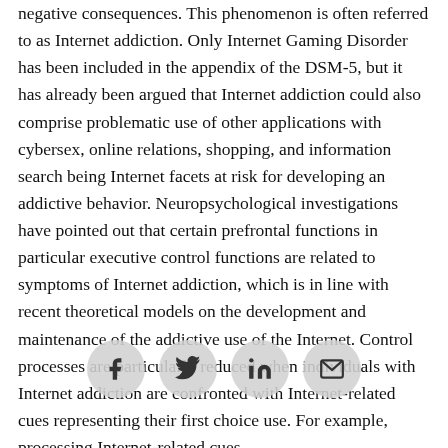negative consequences. This phenomenon is often referred to as Internet addiction. Only Internet Gaming Disorder has been included in the appendix of the DSM-5, but it has already been argued that Internet addiction could also comprise problematic use of other applications with cybersex, online relations, shopping, and information search being Internet facets at risk for developing an addictive behavior. Neuropsychological investigations have pointed out that certain prefrontal functions in particular executive control functions are related to symptoms of Internet addiction, which is in line with recent theoretical models on the development and maintenance of the addictive use of the Internet. Control processes are particularly reduced when individuals with Internet addiction are confronted with Internet-related cues representing their first choice use. For example, processing Internet-related cues
[Figure (other): Social sharing buttons: Facebook, Twitter, LinkedIn, Email — circular grey icons overlaid on the text]